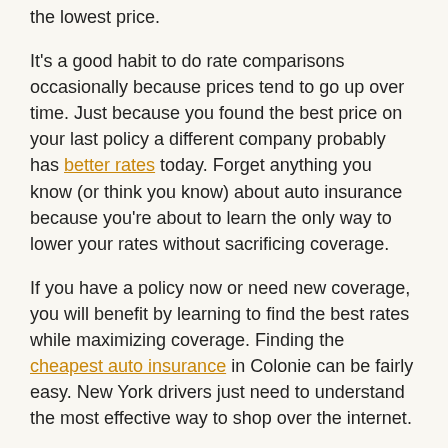the lowest price.
It's a good habit to do rate comparisons occasionally because prices tend to go up over time. Just because you found the best price on your last policy a different company probably has better rates today. Forget anything you know (or think you know) about auto insurance because you're about to learn the only way to lower your rates without sacrificing coverage.
If you have a policy now or need new coverage, you will benefit by learning to find the best rates while maximizing coverage. Finding the cheapest auto insurance in Colonie can be fairly easy. New York drivers just need to understand the most effective way to shop over the internet.
Colonie Auto Insurance Comparisons
All major auto insurance companies allow you to get coverage price quotes on their websites. The process is quite easy as you just type in your coverage preferences into the quote form. After the form is submitted, their system sends out for